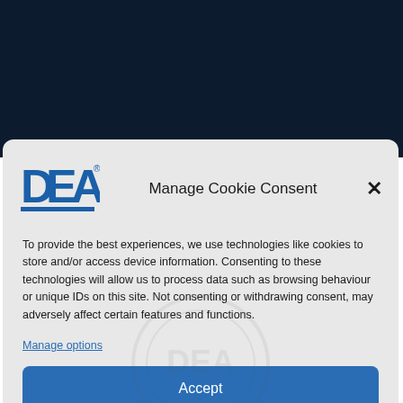[Figure (logo): DEA logo — blue block letters 'DEA' with registered trademark symbol, blue horizontal bar below]
Manage Cookie Consent
To provide the best experiences, we use technologies like cookies to store and/or access device information. Consenting to these technologies will allow us to process data such as browsing behaviour or unique IDs on this site. Not consenting or withdrawing consent, may adversely affect certain features and functions.
Manage options
Accept
Deny
Cookie Policy  Privacy Notice